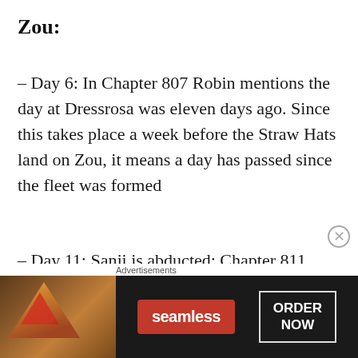Zou:
– Day 6: In Chapter 807 Robin mentions the day at Dressrosa was eleven days ago. Since this takes place a week before the Straw Hats land on Zou, it means a day has passed since the fleet was formed
– Day 11: Sanji is abducted: Chapter 811, Brook mentions it happened just two days ago (from Day 13)
[Figure (infographic): Advertisement banner for Seamless food ordering service showing pizza image, Seamless logo in red, and ORDER NOW button]